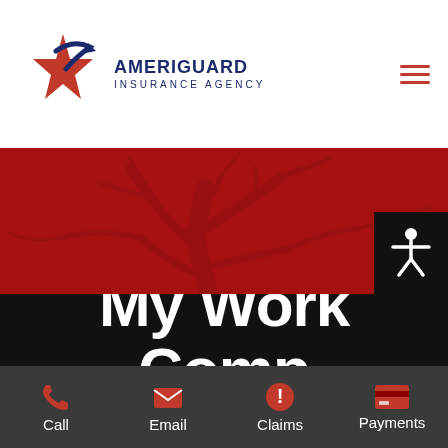[Figure (logo): AmeriGuard Insurance Agency logo: red star with swoosh and text 'AMERIGUARD INSURANCE AGENCY']
[Figure (photo): Red-tinted hero background image showing bare tree branches]
[Figure (illustration): Black accessibility icon button showing a person with arms outstretched]
My Work Comp Audit...
[Figure (infographic): Dark bottom navigation bar with Call, Email, Claims, and Payments icons]